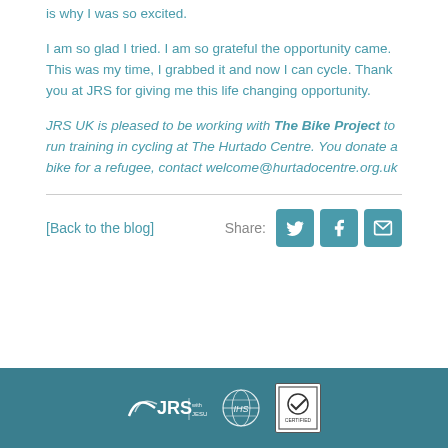is why I was so excited.
I am so glad I tried. I am so grateful the opportunity came. This was my time, I grabbed it and now I can cycle. Thank you at JRS for giving me this life changing opportunity.
JRS UK is pleased to be working with The Bike Project to run training in cycling at The Hurtado Centre. You donate a bike for a refugee, contact welcome@hurtadocentre.org.uk
[Back to the blog]
Share:
[Figure (logo): JRS and Jesuit logos in white footer bar, plus a certification logo]
JRS | JESUIT [logos]